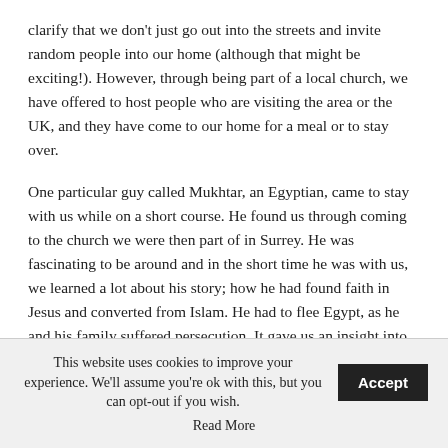clarify that we don't just go out into the streets and invite random people into our home (although that might be exciting!). However, through being part of a local church, we have offered to host people who are visiting the area or the UK, and they have come to our home for a meal or to stay over.
One particular guy called Mukhtar, an Egyptian, came to stay with us while on a short course. He found us through coming to the church we were then part of in Surrey. He was fascinating to be around and in the short time he was with us, we learned a lot about his story; how he had found faith in Jesus and converted from Islam. He had to flee Egypt, as he and his family suffered persecution. It gave us an insight into what it means to be a refugee and to need shelter and acceptance, both of which we can often take for granted. He later reciprocated our hospitality
This website uses cookies to improve your experience. We'll assume you're ok with this, but you can opt-out if you wish. Accept Read More